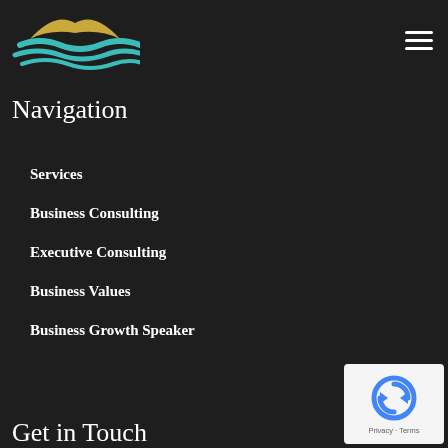[Figure (logo): Bird and waves logo in teal and gold colors]
Navigation
Services
Business Consulting
Executive Consulting
Business Values
Business Growth Speaker
Get in Touch
[Figure (other): reCAPTCHA widget with Privacy and Terms links]